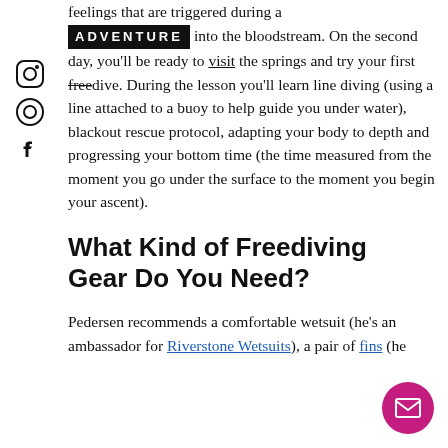feelings that are triggered during a ADVENTURE into the bloodstream. On the second day, you'll be ready to visit the springs and try your first freedive. During the lesson you'll learn line diving (using a line attached to a buoy to help guide you under water), blackout rescue protocol, adapting your body to depth and progressing your bottom time (the time measured from the moment you go under the surface to the moment you begin your ascent).
What Kind of Freediving Gear Do You Need?
Pedersen recommends a comfortable wetsuit (he's an ambassador for Riverstone Wetsuits), a pair of fins (he